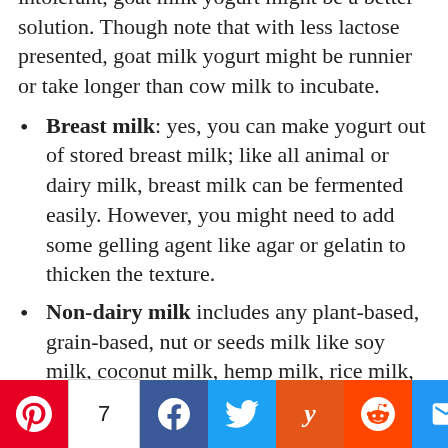intolerant, goat milk yogurt might be a better solution. Though note that with less lactose presented, goat milk yogurt might be runnier or take longer than cow milk to incubate.
Breast milk: yes, you can make yogurt out of stored breast milk; like all animal or dairy milk, breast milk can be fermented easily. However, you might need to add some gelling agent like agar or gelatin to thicken the texture.
Non-dairy milk includes any plant-based, grain-based, nut or seeds milk like soy milk, coconut milk, hemp milk, rice milk, almond milk, oat milk, quinoa milk, flax milk, cashew milk...Most non-dairy or vegan milk is available in unsweetened and sweetened (often with cane sugar) versions. For fermentation purposes, you
7